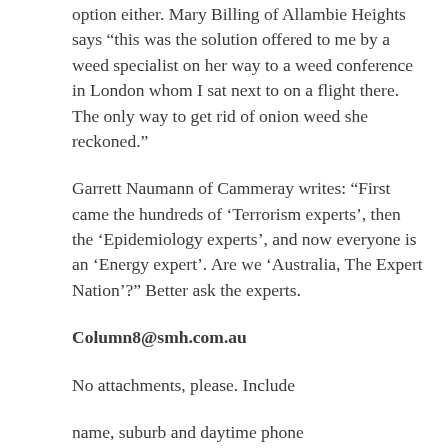option either. Mary Billing of Allambie Heights says “this was the solution offered to me by a weed specialist on her way to a weed conference in London whom I sat next to on a flight there. The only way to get rid of onion weed she reckoned.”
Garrett Naumann of Cammeray writes: “First came the hundreds of ‘Terrorism experts’, then the ‘Epidemiology experts’, and now everyone is an ‘Energy expert’. Are we ‘Australia, The Expert Nation’?” Better ask the experts.
Column8@smh.com.au
No attachments, please. Include
name, suburb and daytime phone